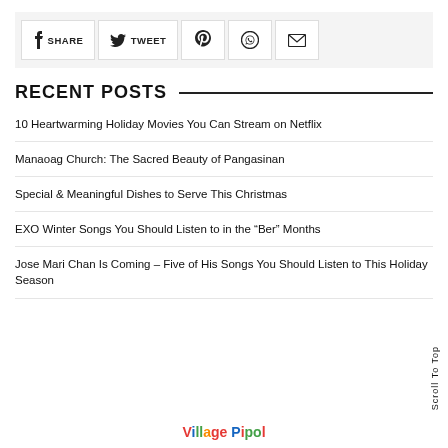[Figure (infographic): Social share bar with SHARE (Facebook), TWEET (Twitter), Pinterest, WhatsApp, and email icon buttons]
RECENT POSTS
10 Heartwarming Holiday Movies You Can Stream on Netflix
Manaoag Church: The Sacred Beauty of Pangasinan
Special & Meaningful Dishes to Serve This Christmas
EXO Winter Songs You Should Listen to in the “Ber” Months
Jose Mari Chan Is Coming – Five of His Songs You Should Listen to This Holiday Season
Scroll To Top
[Figure (logo): Village Pipol logo in multicolor text]